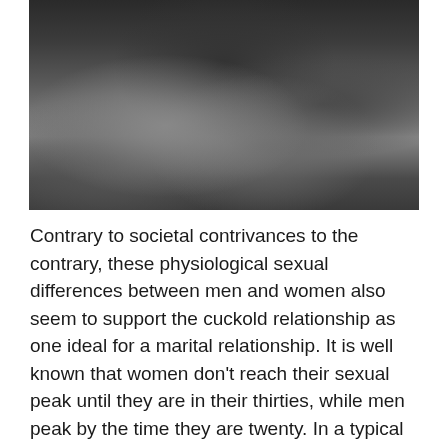[Figure (photo): Black and white photograph showing two people crouching/kneeling close together, one wearing high heels and the other wearing boots, only lower bodies visible]
Contrary to societal contrivances to the contrary, these physiological sexual differences between men and women also seem to support the cuckold relationship as one ideal for a marital relationship. It is well known that women don’t reach their sexual peak until they are in their thirties, while men peak by the time they are twenty. In a typical marriage, a wife is generally